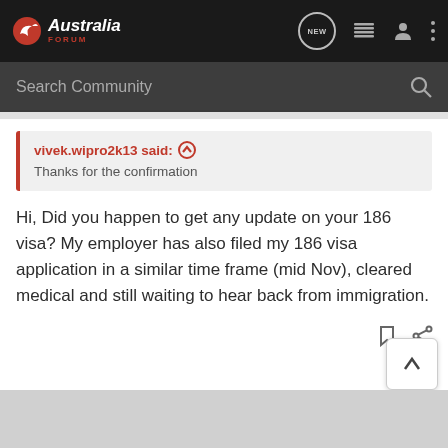Australia Forum
Search Community
vivek.wipro2k13 said: ↑
Thanks for the confirmation
Hi, Did you happen to get any update on your 186 visa? My employer has also filed my 186 visa application in a similar time frame (mid Nov), cleared medical and still waiting to hear back from immigration.